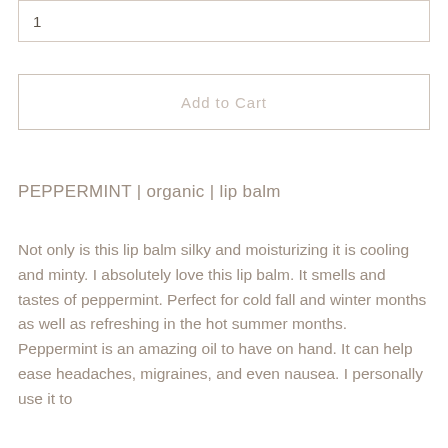1
Add to Cart
PEPPERMINT | organic | lip balm
Not only is this lip balm silky and moisturizing it is cooling and minty. I absolutely love this lip balm. It smells and tastes of peppermint. Perfect for cold fall and winter months as well as refreshing in the hot summer months. Peppermint is an amazing oil to have on hand. It can help ease headaches, migraines, and even nausea. I personally use it to